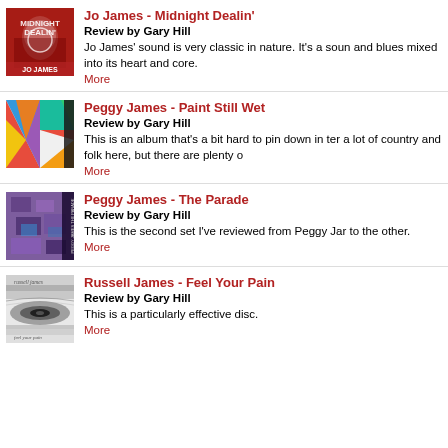[Figure (illustration): Jo James Midnight Dealin' album cover - red toned image with text]
Jo James - Midnight Dealin'
Review by Gary Hill
Jo James' sound is very classic in nature. It's a sound and blues mixed into its heart and core.
More
[Figure (illustration): Peggy James Paint Still Wet album cover - colorful geometric triangles]
Peggy James - Paint Still Wet
Review by Gary Hill
This is an album that's a bit hard to pin down in terms of a lot of country and folk here, but there are plenty o
More
[Figure (illustration): Peggy James The Parade album cover - purple collage style]
Peggy James - The Parade
Review by Gary Hill
This is the second set I've reviewed from Peggy Ja to the other.
More
[Figure (illustration): Russell James Feel Your Pain album cover - metallic silver abstract]
Russell James - Feel Your Pain
Review by Gary Hill
This is a particularly effective disc.
More